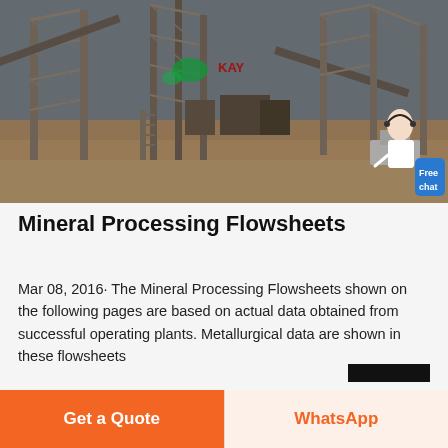[Figure (photo): Industrial mineral processing plant with large metal scaffolding, conveyor belts, and heavy machinery structures set against a dusty outdoor environment. A customer service representative icon with a 'Free chat' button overlay appears in the bottom-right corner.]
Mineral Processing Flowsheets
Mar 08, 2016· The Mineral Processing Flowsheets shown on the following pages are based on actual data obtained from successful operating plants. Metallurgical data are shown in these flowsheets
Get a Quote
WhatsApp